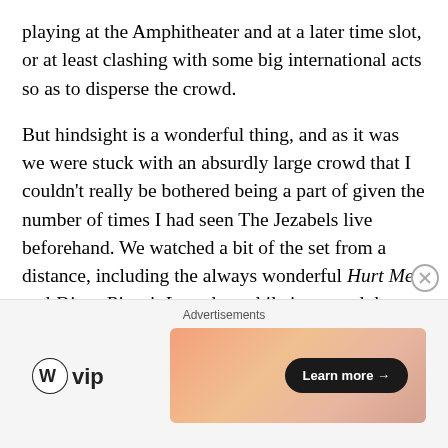playing at the Amphitheater and at a later time slot, or at least clashing with some big international acts so as to disperse the crowd.
But hindsight is a wonderful thing, and as it was we were stuck with an absurdly large crowd that I couldn't really be bothered being a part of given the number of times I had seen The Jezabels live beforehand. We watched a bit of the set from a distance, including the always wonderful Hurt Me and Disco Biscuit Love, but while it seemed that the band were playing flawlessly like they always do, hanging around for their set when we couldn't actually see the band seemed pretty redundant, so we exited pretty early into the set.
Advertisements
[Figure (logo): WordPress VIP logo — WordPress circle icon with 'vip' text]
[Figure (infographic): Advertisement banner with peach/orange gradient background and a 'Learn more →' button in black pill shape]